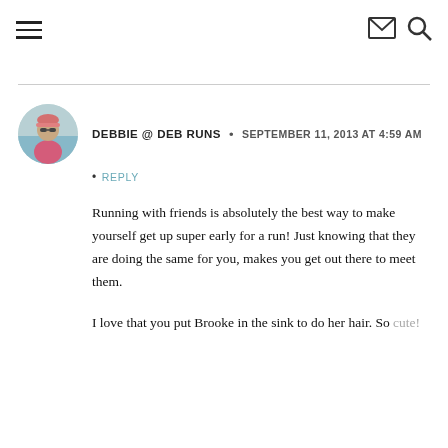≡  ✉  🔍
[Figure (photo): Circular avatar photo of a woman in a pink tank top and sunglasses, outdoors]
DEBBIE @ DEB RUNS · SEPTEMBER 11, 2013 AT 4:59 AM
• REPLY
Running with friends is absolutely the best way to make yourself get up super early for a run! Just knowing that they are doing the same for you, makes you get out there to meet them.
I love that you put Brooke in the sink to do her hair. So cute!